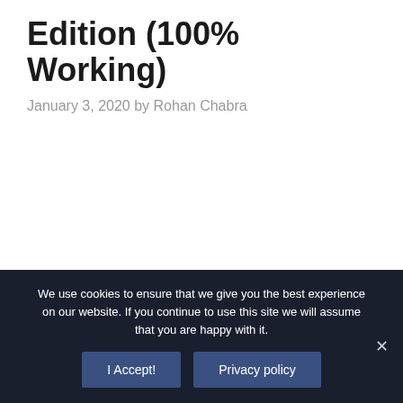Edition (100% Working)
January 3, 2020 by Rohan Chabra
We use cookies to ensure that we give you the best experience on our website. If you continue to use this site we will assume that you are happy with it.
I Accept!
Privacy policy